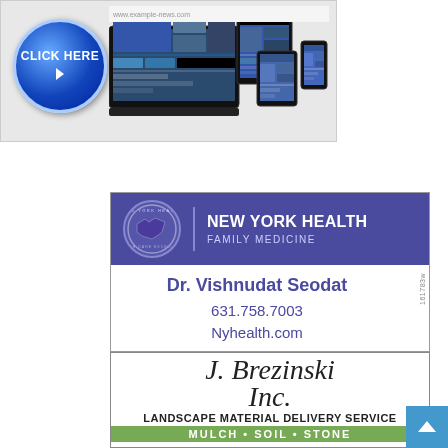[Figure (advertisement): Top banner ad with a blue 'CLICK HERE' button and images of digital devices (laptop, tablet, phone) showing a news/media website.]
[Figure (advertisement): New York Health Family Medicine advertisement with purple header, logo, 'Dr. Vishnudat Seodat', phone 631.758.7003, website Nyhealth.com. ID: 161783w]
[Figure (advertisement): J. Brezinski Inc. Landscape Material Delivery Service advertisement. Mulch, Soil, Stone. Phone starts with 631.566.1836. Deliveries text partially visible.]